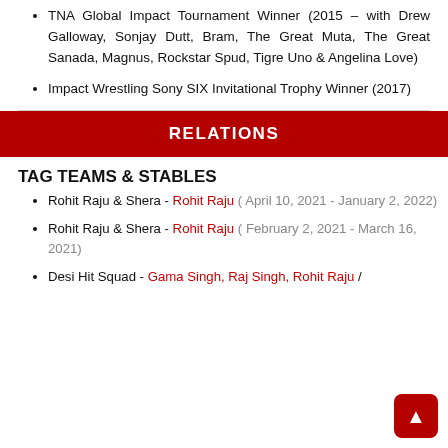TNA Global Impact Tournament Winner (2015 – with Drew Galloway, Sonjay Dutt, Bram, The Great Muta, The Great Sanada, Magnus, Rockstar Spud, Tigre Uno & Angelina Love)
Impact Wrestling Sony SIX Invitational Trophy Winner (2017)
RELATIONS
TAG TEAMS & STABLES
Rohit Raju & Shera - Rohit Raju ( April 10, 2021 - January 2, 2022)
Rohit Raju & Shera - Rohit Raju ( February 2, 2021 - March 16, 2021)
Desi Hit Squad - Gama Singh, Raj Singh, Rohit Raju /